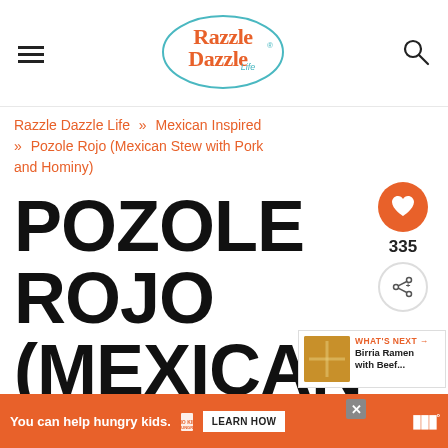Razzle Dazzle Life [logo] [hamburger menu] [search icon]
Razzle Dazzle Life » Mexican Inspired » Pozole Rojo (Mexican Stew with Pork and Hominy)
POZOLE ROJO (MEXICAN STEW WITH PORK AND
335
WHAT'S NEXT → Birria Ramen with Beef...
You can help hungry kids. NO KID HUNGRY LEARN HOW